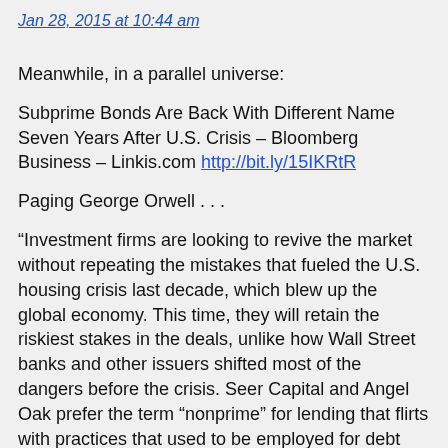Jan 28, 2015 at 10:44 am
Meanwhile, in a parallel universe:
Subprime Bonds Are Back With Different Name Seven Years After U.S. Crisis – Bloomberg Business – Linkis.com http://bit.ly/15IKRtR
Paging George Orwell . . .
“Investment firms are looking to revive the market without repeating the mistakes that fueled the U.S. housing crisis last decade, which blew up the global economy. This time, they will retain the riskiest stakes in the deals, unlike how Wall Street banks and other issuers shifted most of the dangers before the crisis. Seer Capital and Angel Oak prefer the term “nonprime” for lending that flirts with practices that used to be employed for debt known